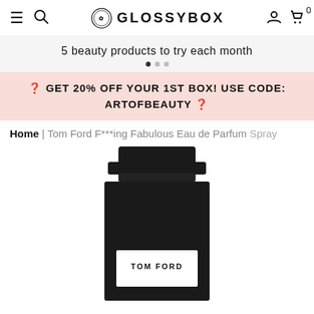GLOSSYBOX navigation bar with hamburger menu, search, logo, user account, and cart (0)
5 beauty products to try each month
GET 20% OFF YOUR 1ST BOX! USE CODE: ARTOFBEAUTY
Home | Tom Ford F***ing Fabulous Eau de Parfum Spray
[Figure (photo): Tom Ford F***ing Fabulous Eau de Parfum spray bottle — a matte black rectangular bottle with white label showing TOM FORD text, partially cropped at bottom of page]